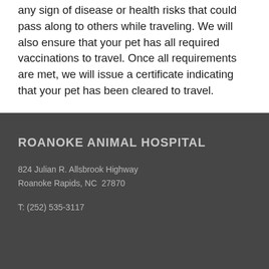any sign of disease or health risks that could pass along to others while traveling. We will also ensure that your pet has all required vaccinations to travel. Once all requirements are met, we will issue a certificate indicating that your pet has been cleared to travel.
ROANOKE ANIMAL HOSPITAL
824 Julian R. Allsbrook Highway
Roanoke Rapids, NC  27870
T: (252) 535-3117